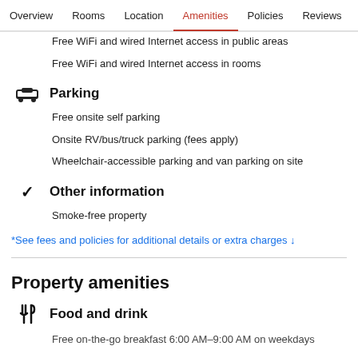Overview  Rooms  Location  Amenities  Policies  Reviews
Free WiFi and wired Internet access in public areas
Free WiFi and wired Internet access in rooms
Parking
Free onsite self parking
Onsite RV/bus/truck parking (fees apply)
Wheelchair-accessible parking and van parking on site
Other information
Smoke-free property
*See fees and policies for additional details or extra charges ↓
Property amenities
Food and drink
Free on-the-go breakfast 6:00 AM–9:00 AM on weekdays